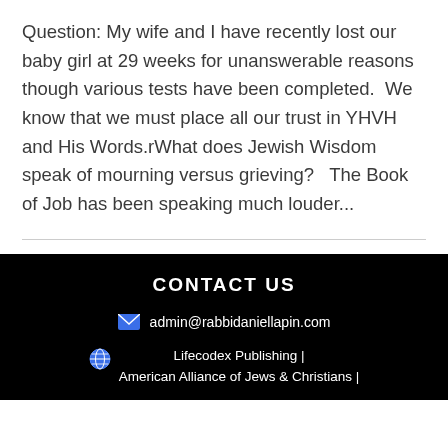Question: My wife and I have recently lost our baby girl at 29 weeks for unanswerable reasons though various tests have been completed.  We know that we must place all our trust in YHVH and His Words.rWhat does Jewish Wisdom speak of mourning versus grieving?   The Book of Job has been speaking much louder...
CONTACT US
admin@rabbidaniellapin.com
Lifecodex Publishing | American Alliance of Jews & Christians |